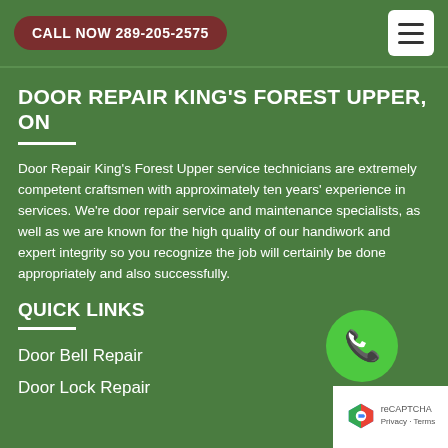CALL NOW 289-205-2575
DOOR REPAIR KING'S FOREST UPPER, ON
Door Repair King's Forest Upper service technicians are extremely competent craftsmen with approximately ten years' experience in services. We're door repair service and maintenance specialists, as well as we are known for the high quality of our handiwork and expert integrity so you recognize the job will certainly be done appropriately and also successfully.
QUICK LINKS
Door Bell Repair
Door Lock Repair